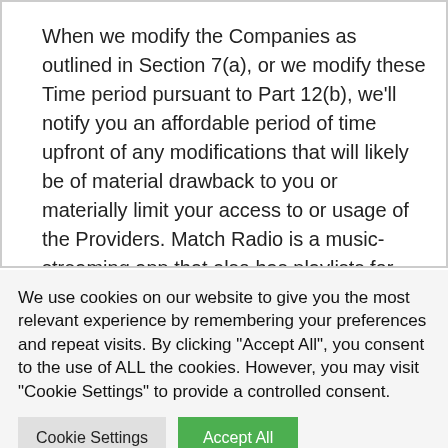When we modify the Companies as outlined in Section 7(a), or we modify these Time period pursuant to Part 12(b), we'll notify you an affordable period of time upfront of any modifications that will likely be of material drawback to you or materially limit your access to or usage of the Providers. Match Radio is a music-streaming app that also has playlists for guided exercises.
We use cookies on our website to give you the most relevant experience by remembering your preferences and repeat visits. By clicking "Accept All", you consent to the use of ALL the cookies. However, you may visit "Cookie Settings" to provide a controlled consent.